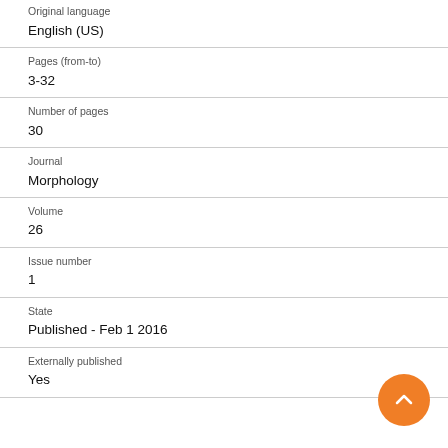Original language
English (US)
Pages (from-to)
3-32
Number of pages
30
Journal
Morphology
Volume
26
Issue number
1
State
Published - Feb 1 2016
Externally published
Yes